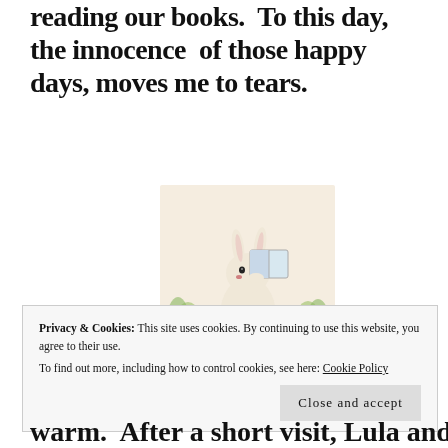reading our books.  To this day, the innocence  of those happy days, moves me to tears.
[Figure (illustration): Illustration of a rabbit or small animal character holding an open book, surrounded by green foliage and small flowers, in a soft watercolor style.]
Privacy & Cookies: This site uses cookies. By continuing to use this website, you agree to their use.
To find out more, including how to control cookies, see here: Cookie Policy
Close and accept
warm.  After a short visit, Lula and I